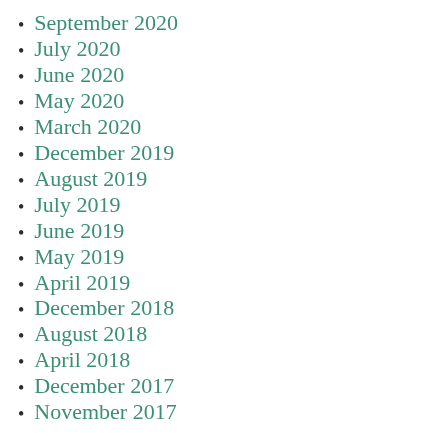September 2020
July 2020
June 2020
May 2020
March 2020
December 2019
August 2019
July 2019
June 2019
May 2019
April 2019
December 2018
August 2018
April 2018
December 2017
November 2017